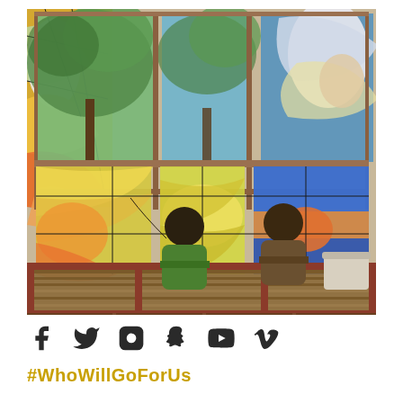[Figure (photo): Two workers on a scaffold installing or restoring large colorful stained glass windows inside a building. The windows feature angel or bird figures in vibrant blues, greens, yellows, and pinks. Trees are visible through the upper panes of the windows.]
Social media icons: Facebook, Twitter, Instagram, Snapchat, YouTube, Vimeo
#WhoWillGoForUs